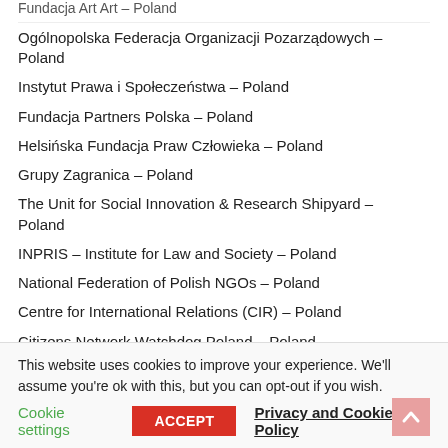Fundacja Art Art – Poland
Ogólnopolska Federacja Organizacji Pozarządowych – Poland
Instytut Prawa i Społeczeństwa – Poland
Fundacja Partners Polska – Poland
Helsińska Fundacja Praw Człowieka – Poland
Grupy Zagranica – Poland
The Unit for Social Innovation & Research Shipyard – Poland
INPRIS – Institute for Law and Society – Poland
National Federation of Polish NGOs – Poland
Centre for International Relations (CIR) – Poland
Citizens Network Watchdog Poland – Poland
Institute of Public Affairs – Poland
This website uses cookies to improve your experience. We'll assume you're ok with this, but you can opt-out if you wish.
Cookie settings    ACCEPT    Privacy and Cookie Policy